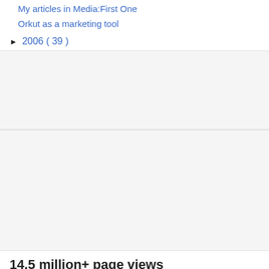My articles in Media:First One
Orkut as a marketing tool
► 2006 ( 39 )
14.5 million+ page views
[Figure (other): Flip counter showing digits 1 5 7 3 9 0 1 7 on dark square blocks]